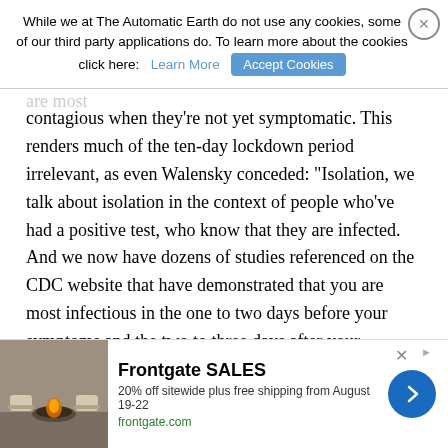appearance of text. To learn more about the cookies are most contagious when they're not yet symptomatic. This renders much of the ten-day lockdown period irrelevant, as even Walensky conceded: “Isolation, we talk about isolation in the context of people who’ve had a positive test, who know that they are infected. And we now have dozens of studies referenced on the CDC website that have demonstrated that you are most infectious in the one to two days before your symptoms and the two to three days after your symptoms. So by five days after your symptoms, the vast majority of your contagiousness is really behind you.”
Dr. Scott Atlas appeared on Tucker Carlson to discuss Walensky’s revelations and was unimpressed. When it comes to morbidity, he said, it’s long been known, only it was kept from the American public. Atlas also reminded Tucker and his audience that there’s a huge difference between being hospitalized for COVID and
[Figure (screenshot): Cookie consent banner overlay: text reading 'While we at The Automatic Earth do not use any cookies, some of our third party applications do. To learn more about the cookies click here:' with 'Learn More' and 'Accept Cookies' buttons.]
[Figure (infographic): Advertisement banner for Frontgate SALES: '20% off sitewide plus free shipping from August 19-22' at frontgate.com, with a photo of outdoor furniture with a fire pit, and a blue arrow button.]